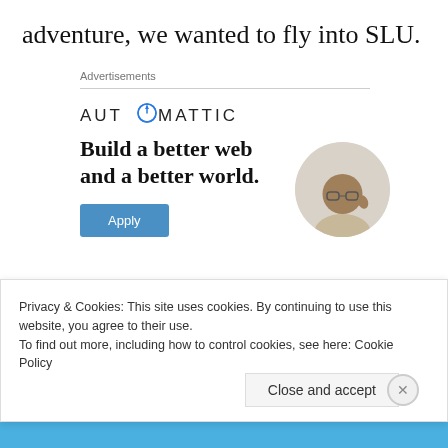adventure, we wanted to fly into SLU.
Advertisements
[Figure (infographic): Automattic advertisement banner with logo, headline 'Build a better web and a better world.', an Apply button, and a circular photo of a man]
Privacy & Cookies: This site uses cookies. By continuing to use this website, you agree to their use.
To find out more, including how to control cookies, see here: Cookie Policy
Close and accept